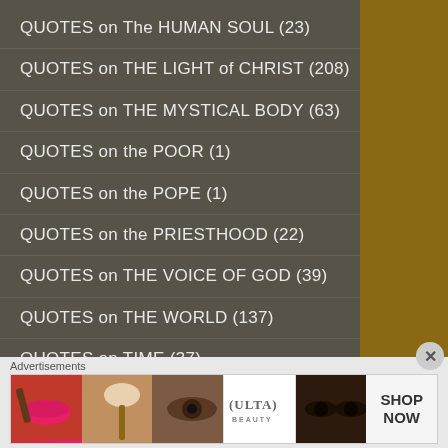QUOTES on The HUMAN SOUL (23)
QUOTES on THE LIGHT of CHRIST (208)
QUOTES on THE MYSTICAL BODY (63)
QUOTES on the POOR (1)
QUOTES on the POPE (1)
QUOTES on the PRIESTHOOD (22)
QUOTES on THE VOICE OF GOD (39)
QUOTES on THE WORLD (137)
QUOTES on TIME (37)
QUOTES on TRADITION (4)
QUOTES on TRUST in GOD (287)
Advertisements
[Figure (photo): Advertisement banner for ULTA beauty products showing makeup images and SHOP NOW call to action]